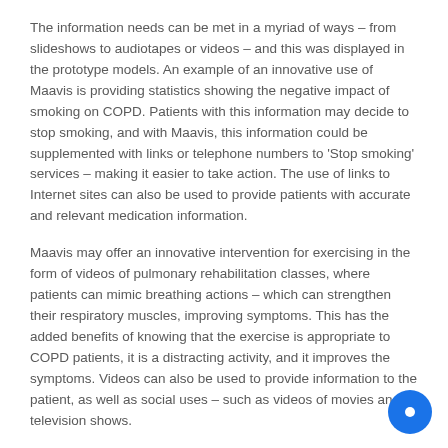The information needs can be met in a myriad of ways – from slideshows to audiotapes or videos – and this was displayed in the prototype models. An example of an innovative use of Maavis is providing statistics showing the negative impact of smoking on COPD. Patients with this information may decide to stop smoking, and with Maavis, this information could be supplemented with links or telephone numbers to 'Stop smoking' services – making it easier to take action. The use of links to Internet sites can also be used to provide patients with accurate and relevant medication information.
Maavis may offer an innovative intervention for exercising in the form of videos of pulmonary rehabilitation classes, where patients can mimic breathing actions – which can strengthen their respiratory muscles, improving symptoms. This has the added benefits of knowing that the exercise is appropriate to COPD patients, it is a distracting activity, and it improves the symptoms. Videos can also be used to provide information to the patient, as well as social uses – such as videos of movies and television shows.
Maavis can help tackle social isolation and depression via video conferencing using Skype: this offers the opportunity for patients to communicate with relatives, friends, or doctors at home. As well as increasing social interaction for the patient, it will also give them the